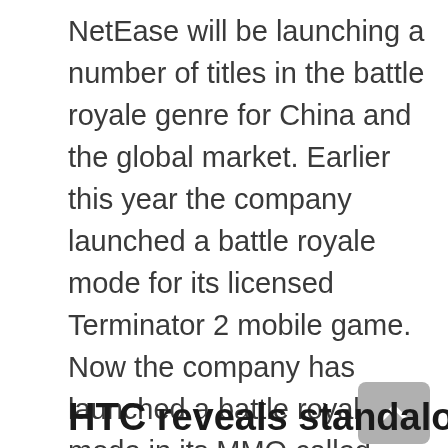NetEase will be launching a number of titles in the battle royale genre for China and the global market. Earlier this year the company launched a battle royale mode for its licensed Terminator 2 mobile game. Now the company has launched a battle royale mode in its MMO called Crusadors of Light. Earlier this week the company launched a standalone battle royale game called Wildland Operation. All of these games have been released globally on iOS this week.
Read about it
HTC reveals standalone VR headset